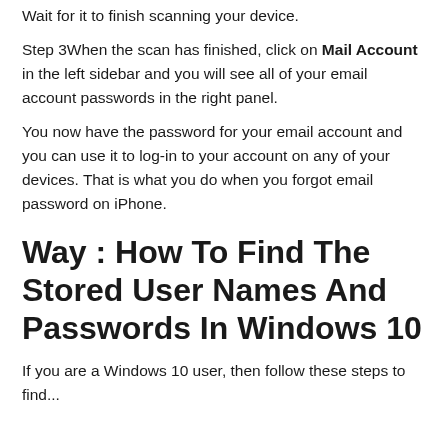Wait for it to finish scanning your device.
Step 3When the scan has finished, click on Mail Account in the left sidebar and you will see all of your email account passwords in the right panel.
You now have the password for your email account and you can use it to log-in to your account on any of your devices. That is what you do when you forgot email password on iPhone.
Way : How To Find The Stored User Names And Passwords In Windows 10
If you are a Windows 10 user, then follow these steps to find...